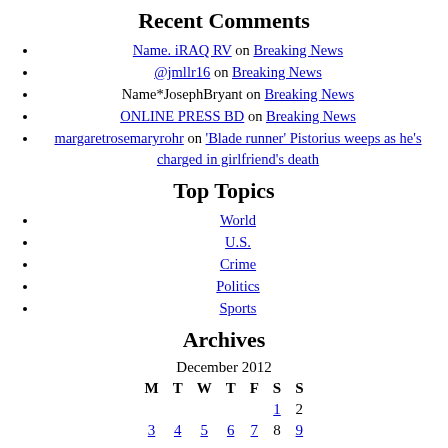Recent Comments
Name. iRAQ RV on Breaking News
@jmllr16 on Breaking News
Name*JosephBryant on Breaking News
ONLINE PRESS BD on Breaking News
margaretrosemaryrohr on 'Blade runner' Pistorius weeps as he's charged in girlfriend's death
Top Topics
World
U.S.
Crime
Politics
Sports
Archives
| M | T | W | T | F | S | S |
| --- | --- | --- | --- | --- | --- | --- |
|  |  |  |  |  | 1 | 2 |
| 3 | 4 | 5 | 6 | 7 | 8 | 9 |